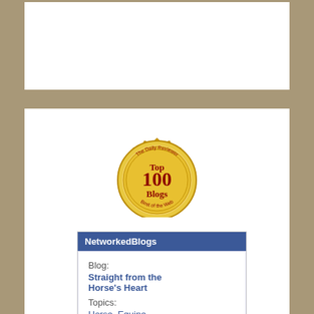[Figure (illustration): Top white content panel area (partially visible)]
[Figure (logo): Gold award badge/ribbon reading 'The Daily Reviewer Top 100 Blogs Best of the Web']
NetworkedBlogs
Blog:
Straight from the Horse's Heart
Topics:
Horse, Equine,